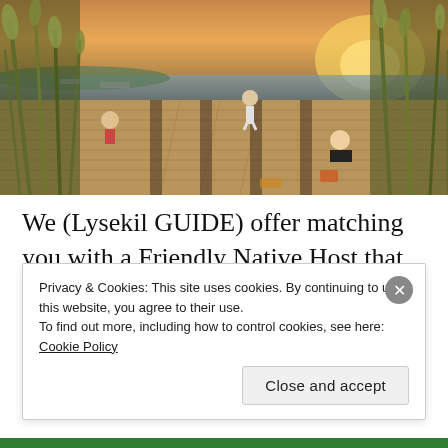[Figure (photo): People sitting and relaxing on a wooden boardwalk/pier by the water at sunset, with tall grasses in the foreground and boats visible in the background.]
We (Lysekil GUIDE) offer matching you with a Friendly Native Host that can pick you up by car in the harbour of Lysekil. Together with your Friendly Native Host you will decide how to spend the next couple of
Privacy & Cookies: This site uses cookies. By continuing to use this website, you agree to their use.
To find out more, including how to control cookies, see here: Cookie Policy